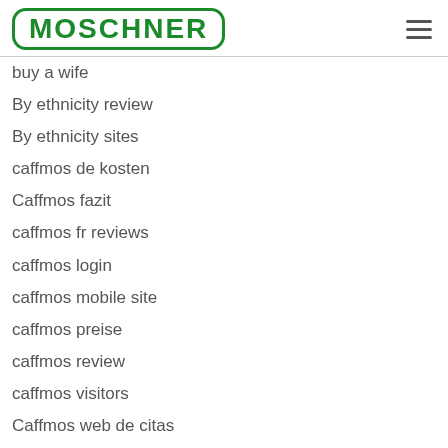MOSCHNER
buy a wife
By ethnicity review
By ethnicity sites
caffmos de kosten
Caffmos fazit
caffmos fr reviews
caffmos login
caffmos mobile site
caffmos preise
caffmos review
caffmos visitors
Caffmos web de citas